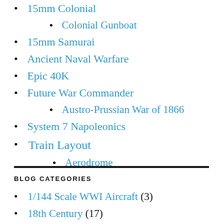15mm Colonial
Colonial Gunboat
15mm Samurai
Ancient Naval Warfare
Epic 40K
Future War Commander
Austro-Prussian War of 1866
System 7 Napoleonics
Train Layout
Aerodrome
BLOG CATEGORIES
1/144 Scale WWI Aircraft (3)
18th Century (17)